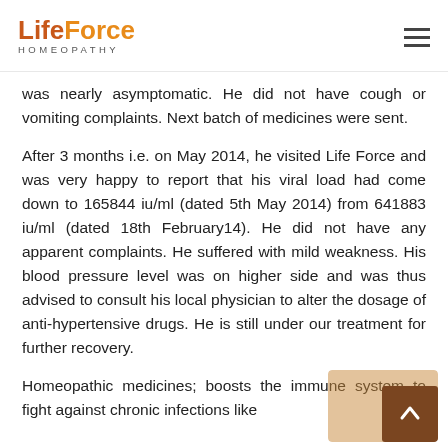LifeForce HOMEOPATHY
was nearly asymptomatic. He did not have cough or vomiting complaints. Next batch of medicines were sent.
After 3 months i.e. on May 2014, he visited Life Force and was very happy to report that his viral load had come down to 165844 iu/ml (dated 5th May 2014) from 641883 iu/ml (dated 18th February14). He did not have any apparent complaints. He suffered with mild weakness. His blood pressure level was on higher side and was thus advised to consult his local physician to alter the dosage of anti-hypertensive drugs. He is still under our treatment for further recovery.
Homeopathic medicines; boosts the immune system to fight against chronic infections like